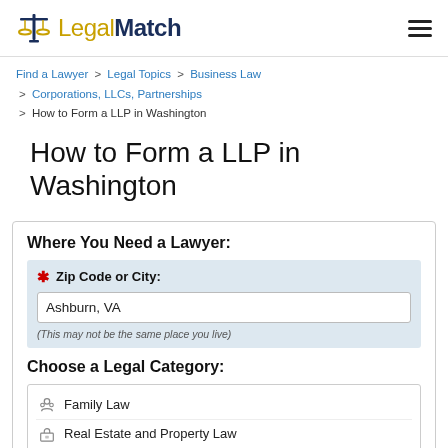LegalMatch
Find a Lawyer > Legal Topics > Business Law > Corporations, LLCs, Partnerships > How to Form a LLP in Washington
How to Form a LLP in Washington
Where You Need a Lawyer:
* Zip Code or City: Ashburn, VA (This may not be the same place you live)
Choose a Legal Category:
Family Law
Real Estate and Property Law